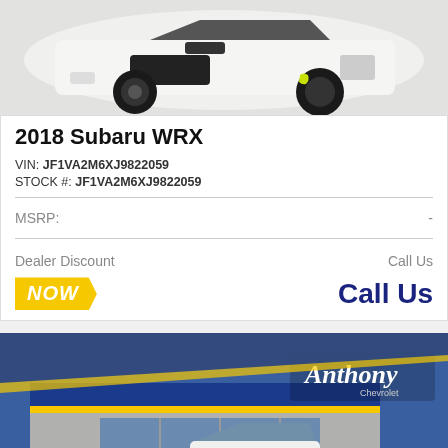[Figure (photo): White Subaru WRX sports car viewed from front-left angle, black wheels with yellow brake calipers]
2018 Subaru WRX
VIN: JF1VA2M6XJ9822059
STOCK #: JF1VA2M6XJ9822059
MSRP: -
Dealer Discount   Call Us
NOW   Call Us
[Figure (photo): White pickup truck parked at Anthony Chevrolet dealership, blue and yellow branded building visible in background]